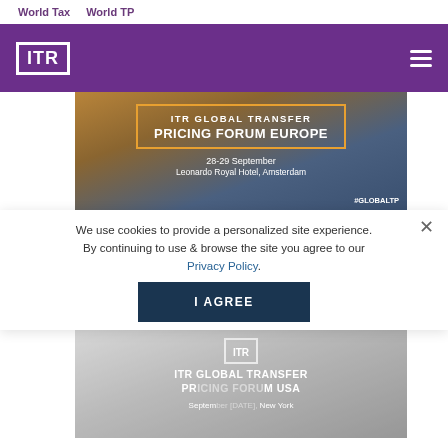World Tax    World TP
[Figure (screenshot): ITR purple logo and navigation header bar with hamburger menu]
[Figure (photo): ITR Global Transfer Pricing Forum Europe banner. 28-29 September, Leonardo Royal Hotel, Amsterdam. #GLOBALTP. Amsterdam canal background.]
We use cookies to provide a personalized site experience. By continuing to use & browse the site you agree to our Privacy Policy.
[Figure (screenshot): I AGREE button for cookie consent, dark navy blue background]
[Figure (photo): ITR Global Transfer Pricing Forum USA. September [date], New York. Blurred/dimmed second banner image behind cookie overlay.]